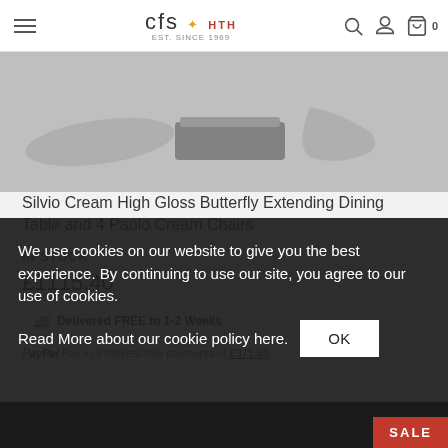cfs EST. SINCE 1969
[Figure (photo): Product image area showing dining furniture items on grey background]
Silvio Cream High Gloss Butterfly Extending Dining Table and 4 Paolo Cream Chairs
IN STOCK
£1115.40
Delivered FREE in 1-2 Weeks
PayPal Pay in 3 interest-free payments of £371.80
We use cookies on our website to give you the best experience. By continuing to use our site, you agree to our use of cookies.
Read More about our cookie policy here.
OK
SALE